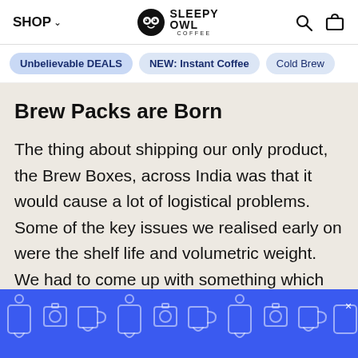SHOP ∨  SLEEPY OWL COFFEE  [search] [cart]
Unbelievable DEALS
NEW: Instant Coffee
Cold Brew
Brew Packs are Born
The thing about shipping our only product, the Brew Boxes, across India was that it would cause a lot of logistical problems. Some of the key issues we realised early on were the shelf life and volumetric weight. We had to come up with something which was true to our identity